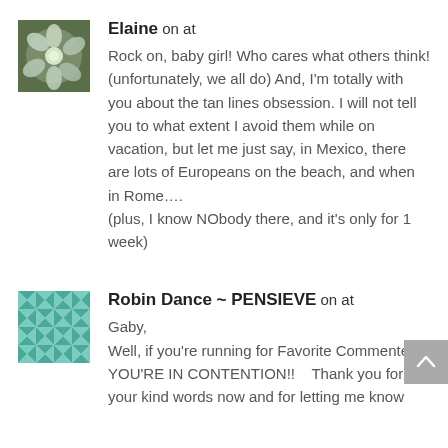[Figure (photo): Small square avatar photo of a flower (hydrangea), green and purple tones]
Elaine on at
Rock on, baby girl! Who cares what others think! (unfortunately, we all do) And, I'm totally with you about the tan lines obsession. I will not tell you to what extent I avoid them while on vacation, but let me just say, in Mexico, there are lots of Europeans on the beach, and when in Rome....
(plus, I know NObody there, and it's only for 1 week)
[Figure (illustration): Small square avatar with a teal/green geometric quilt pattern on white background]
Robin Dance ~ PENSIEVE on at
Gaby,
Well, if you're running for Favorite Commenter, YOU'RE IN CONTENTION!!    Thank you for your kind words now and for letting me know